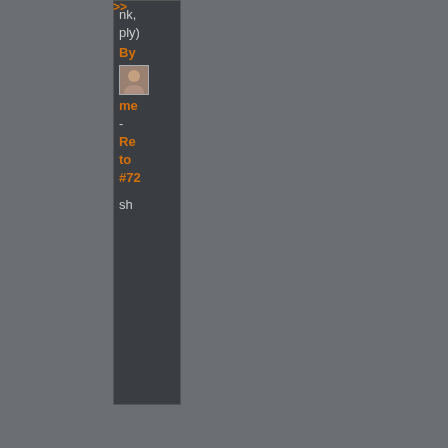nk,
ply)
By
me
-
Re
to
#72
[Figure (photo): Small avatar photo of a person]
sh
<<
Comment
#124
@
01:12
CDT,
31
May
2013
>>
B
)D
G
-
R
t
#
.
i